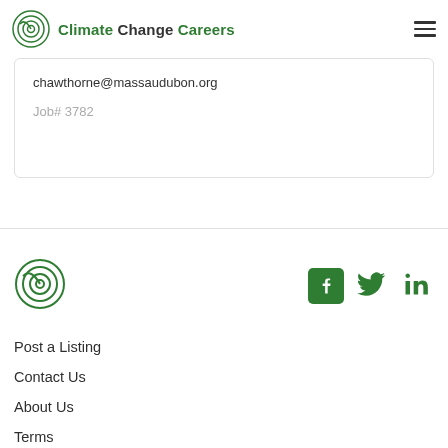Climate Change Careers
chawthorne@massaudubon.org
Job# 3782
[Figure (logo): Climate Change Careers logo in footer]
[Figure (infographic): Social media icons: Facebook, Twitter, LinkedIn in green]
Post a Listing
Contact Us
About Us
Terms
Privacy